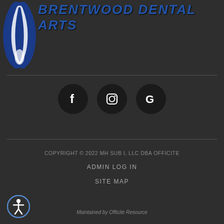[Figure (logo): Brentwood Dental Arts logo with blue tooth/arrow icon and bold italic blue text reading BRENTWOOD DENTAL ARTS]
[Figure (infographic): Three social media icon circles: Facebook (f), Instagram (camera), Google (G) on dark background]
COPYRIGHT © 2022 MH SUB I, LLC DBA OFFICITE
ADMIN LOG IN
SITE MAP
Maintained by Officite Resource
[Figure (illustration): Accessibility icon - person in circle at bottom left]